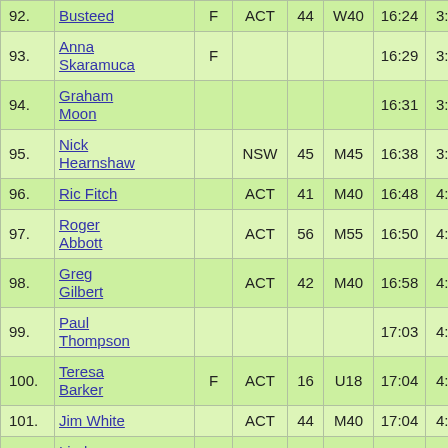| # | Name | F | State | Age | Cat | Time | Pace |
| --- | --- | --- | --- | --- | --- | --- | --- |
| 92. | Busteed | F | ACT | 44 | W40 | 16:24 | 3:54 |
| 93. | Anna Skaramuca | F |  |  |  | 16:29 | 3:55 |
| 94. | Graham Moon |  |  |  |  | 16:31 | 3:55 |
| 95. | Nick Hearnshaw |  | NSW | 45 | M45 | 16:38 | 3:57 |
| 96. | Ric Fitch |  | ACT | 41 | M40 | 16:48 | 4:00 |
| 97. | Roger Abbott |  | ACT | 56 | M55 | 16:50 | 4:00 |
| 98. | Greg Gilbert |  | ACT | 42 | M40 | 16:58 | 4:02 |
| 99. | Paul Thompson |  |  |  |  | 17:03 | 4:03 |
| 100. | Teresa Barker | F | ACT | 16 | U18 | 17:04 | 4:03 |
| 101. | Jim White |  | ACT | 44 | M40 | 17:04 | 4:03 |
| 102. | Linda Lenton | F | ACT | 44 | W40 | 17:08 | 4:04 |
| 103. | John Busteed |  | ACT | 46 | M45 | 17:09 | 4:05 |
| 104. | Kaaren Sutcliffe | F | NSW | 36 | W35 | 17:10 | 4:05 |
| 105. | Graeme |  | ACT | 51 | M50 | 17:11 | 4:05 |